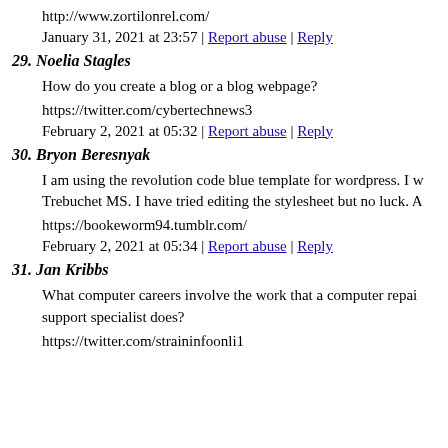friends. I'm confident they'll be benefited from this web site.
http://www.zortilonrel.com/
January 31, 2021 at 23:57 | Report abuse | Reply
29. Noelia Stagles
How do you create a blog or a blog webpage?
https://twitter.com/cybertechnews3
February 2, 2021 at 05:32 | Report abuse | Reply
30. Bryon Beresnyak
I am using the revolution code blue template for wordpress. I w Trebuchet MS. I have tried editing the stylesheet but no luck. A
https://bookeworm94.tumblr.com/
February 2, 2021 at 05:34 | Report abuse | Reply
31. Jan Kribbs
What computer careers involve the work that a computer repai support specialist does?
https://twitter.com/straininfoonli1